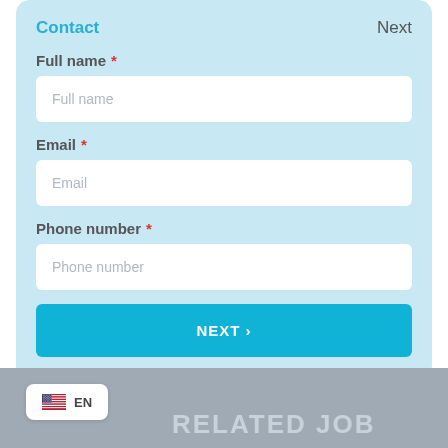Contact — Next
Full name *
Full name (placeholder)
Email *
Email (placeholder)
Phone number *
Phone number (placeholder)
NEXT ›
EN
RELATED JOB